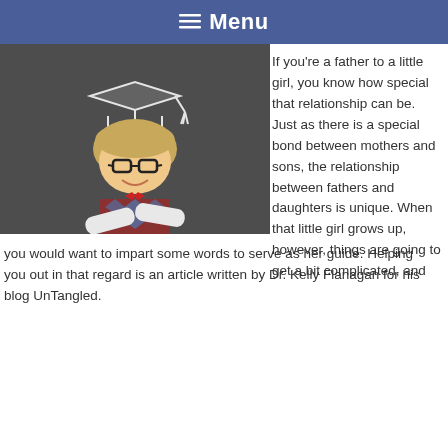≡ Menu
[Figure (photo): Young boy dressed smartly in a vest and bow tie with arms crossed, smiling, with a chalk-drawn graduation cap on a blackboard behind him.]
If you're a father to a little girl, you know how special that relationship can be. Just as there is a special bond between mothers and sons, the relationship between fathers and daughters is unique. When that little girl grows up, however, things are going to get a bit complicated, and you would want to impart some words to serve as her guide. Helping you out in that regard is an article written by Dr. Kelly Flanagan for his blog UnTangled.